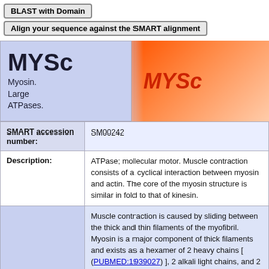BLAST with Domain
Align your sequence against the SMART alignment
MYSc - Myosin. Large ATPases.
SMART accession number:
Description: ATPase; molecular motor. Muscle contraction consists of a cyclical interaction between myosin and actin. The core of the myosin structure is similar in fold to that of kinesin.
Interpro abstract: Muscle contraction is caused by sliding between the thick and thin filaments of the myofibril. Myosin is a major component of thick filaments and exists as a hexamer of 2 heavy chains [ (PUBMED:1939027) ], 2 alkali light chains, and 2 regulatory light chains. The heavy chain can be subdivided into the N-terminal globular head and the C-terminal coiled-coil rod-like tail, although some forms have a globular region in their C-terminal. There are many cell-specific isoforms of myosin heavy chains, coded for by a multi-gene family [ (PUBMED:2806546) ]. Myosin interacts with actin to convert chemical energy, in the form of ATP, to mechanical energy [ (PUBMED:3540939) ]. The 3-D structure of the head portion of myosin has been determined [ (PUBMED:8316857) ] and a model for actin-